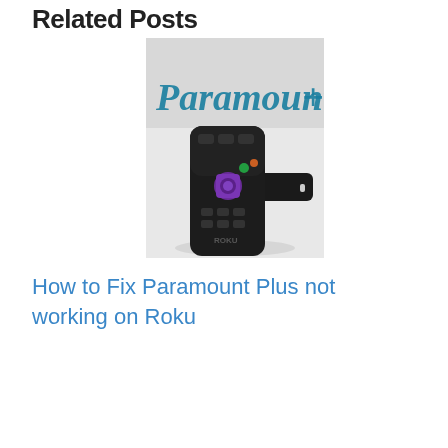Related Posts
[Figure (photo): Photo of a Roku remote control in front of a Paramount Plus logo/background. The remote is black with a purple directional pad, and the Roku streaming stick is visible below it. Background shows partial 'Paramount+' text in blue cursive on light gray.]
How to Fix Paramount Plus not working on Roku